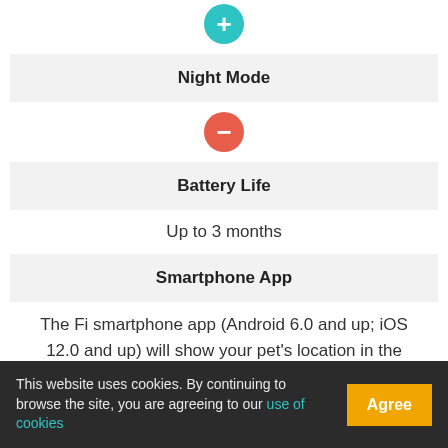[Figure (other): Teal circle with white plus sign]
Night Mode
[Figure (other): Red/coral circle with white minus sign]
Battery Life
Up to 3 months
Smartphone App
The Fi smartphone app (Android 6.0 and up; iOS 12.0 and up) will show your pet's location in the primary view and you can scroll your area by swiping across the map and zoom in or out by pinching and pulling your fingers together or apart. The first initial represents your current location and your pet's photo represents his or her coordinates.
This website uses cookies. By continuing to browse the site, you are agreeing to our use of cookies